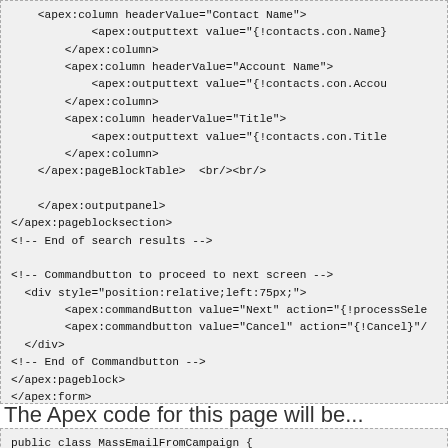<apex:column headerValue="Contact Name">
            <apex:outputtext value="{!contacts.con.Name}"
        </apex:column>
        <apex:column headerValue="Account Name">
            <apex:outputtext value="{!contacts.con.Accou
        </apex:column>
        <apex:column headerValue="Title">
            <apex:outputtext value="{!contacts.con.Title
        </apex:column>
    </apex:pageBlockTable>  <br/><br/>

    </apex:outputpanel>
</apex:pageblocksection>
<!-- End of search results -->

<!-- Commandbutton to proceed to next screen -->
  <div style="position:relative;left:75px;">
        <apex:commandButton value="Next" action="{!processSele
        <apex:commandbutton value="Cancel" action="{!Cancel}"/
  </div>
<!-- End of Commandbutton -->
</apex:pageblock>
</apex:form>
</apex:page>
The Apex code for this page will be...
public class MassEmailFromCampaign {

/* Constructor Function. The campaign id is captured in this